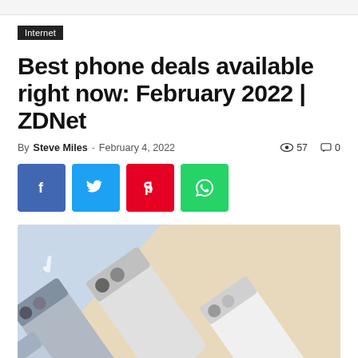Internet
Best phone deals available right now: February 2022 | ZDNet
By Steve Miles - February 4, 2022   57   0
[Figure (other): Social share buttons: Facebook (f), Twitter (bird), Pinterest (p), WhatsApp (phone)]
[Figure (photo): Multiple smartphones laid flat on a beige/cream background, showing Google Pixel 6 phones in various colors (light blue, grey, white) photographed from above at an angle.]